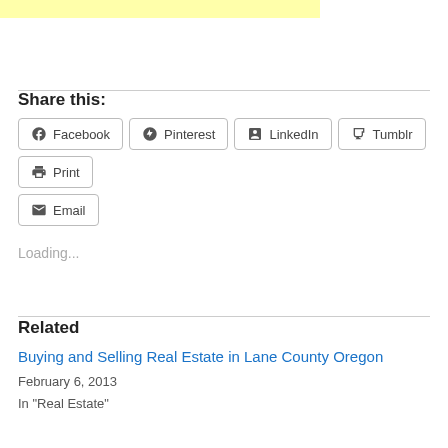[Figure (other): Yellow highlight bar at top of page]
Share this:
Facebook  Pinterest  LinkedIn  Tumblr  Print  Email
Loading...
Related
Buying and Selling Real Estate in Lane County Oregon
February 6, 2013
In "Real Estate"